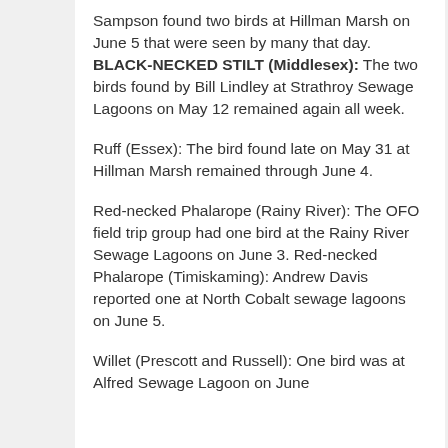Sampson found two birds at Hillman Marsh on June 5 that were seen by many that day. BLACK-NECKED STILT (Middlesex): The two birds found by Bill Lindley at Strathroy Sewage Lagoons on May 12 remained again all week.
Ruff (Essex): The bird found late on May 31 at Hillman Marsh remained through June 4.
Red-necked Phalarope (Rainy River): The OFO field trip group had one bird at the Rainy River Sewage Lagoons on June 3. Red-necked Phalarope (Timiskaming): Andrew Davis reported one at North Cobalt sewage lagoons on June 5.
Willet (Prescott and Russell): One bird was at Alfred Sewage Lagoon on June